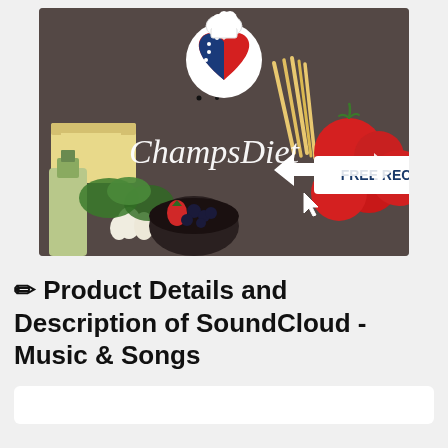[Figure (illustration): ChampsDiet promotional banner image showing food ingredients (cheese, tomatoes, pasta, herbs, olive oil, strawberries) on dark background with logo circle at top (heart shape with US flag design), cursive 'ChampsDiet' text, white arrows pointing to a white button labeled 'FREE RECIPES' in bold dark blue text, and a cursor arrow icon below the button.]
✏ Product Details and Description of SoundCloud - Music & Songs